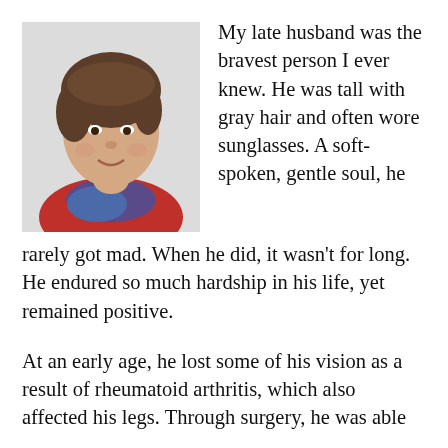[Figure (photo): Portrait photo of a woman with short brown hair, wearing a red top and blue/purple scarf, smiling at the camera against a light background.]
My late husband was the bravest person I ever knew. He was tall with gray hair and often wore sunglasses. A soft-spoken, gentle soul, he rarely got mad. When he did, it wasn't for long. He endured so much hardship in his life, yet remained positive.
At an early age, he lost some of his vision as a result of rheumatoid arthritis, which also affected his legs. Through surgery, he was able to walk, but he lost the rest of his eyesight twenty years later. As an adult, he had one or